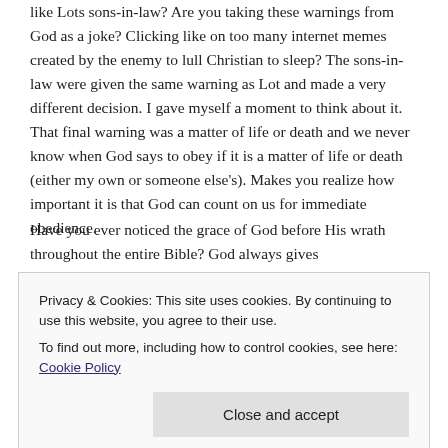like Lots sons-in-law? Are you taking these warnings from God as a joke? Clicking like on too many internet memes created by the enemy to lull Christian to sleep?  The sons-in-law were given the same warning as Lot and made a very different decision.  I gave myself a moment to think about it. That final warning was a matter of life or death and we never know when God says to obey if it is a matter of life or death (either my own or someone else's). Makes you realize how important it is that God can count on us for immediate obedience.
Have you ever noticed the grace of God before His wrath throughout the entire Bible? God always gives...
Privacy & Cookies:  This site uses cookies. By continuing to use this website, you agree to their use.
To find out more, including how to control cookies, see here: Cookie Policy
Close and accept
God and were, through Grace, spared from the wrath!! Over...